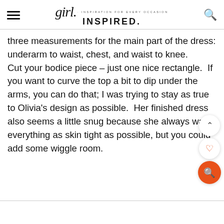girl. INSPIRATION FOR EVERY OCCASION INSPIRED.
three measurements for the main part of the dress: underarm to waist, chest, and waist to knee. Cut your bodice piece – just one nice rectangle. If you want to curve the top a bit to dip under the arms, you can do that; I was trying to stay as true to Olivia's design as possible. Her finished dress also seems a little snug because she always wants everything as skin tight as possible, but you could add some wiggle room.